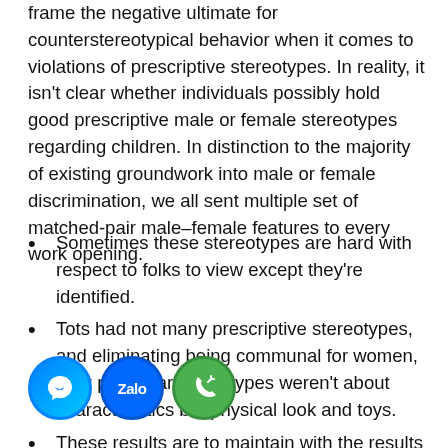frame the negative ultimate for counterstereotypical behavior when it comes to violations of prescriptive stereotypes. In reality, it isn't clear whether individuals possibly hold good prescriptive male or female stereotypes regarding children. In distinction to the majority of existing groundwork into male or female discrimination, we all sent multiple set of matched-pair male–female features to every work opening.
Sometimes these stereotypes are hard with respect to folks to view except they're identified.
Tots had not many prescriptive stereotypes, and eliminating being communal for women, their particular stereotypes weren't about characteristics but physical look and toys.
These results are to maintain with the results that descriptive gender stereotypes weaken for the older age marks (e. g., DeArmond ain al., 06\; Thompson, 2006).